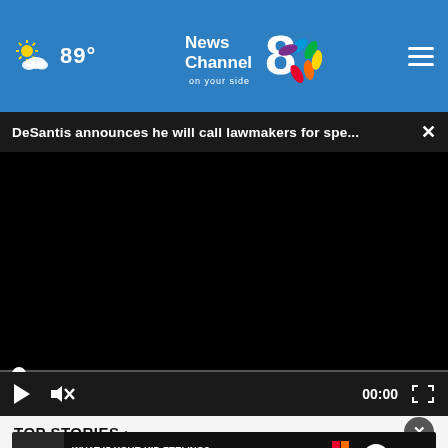89° News Channel 8 on your side
DeSantis announces he will call lawmakers for spe...
[Figure (screenshot): Black video player area with progress bar and controls showing 00:00 timestamp]
TOP STORIES ›
[Figure (photo): Advertisement banner: WHAT IS YOUR KID FEELING? GET SONGS TO SOUND IT OUT. Sound It Out ad council pivotal]